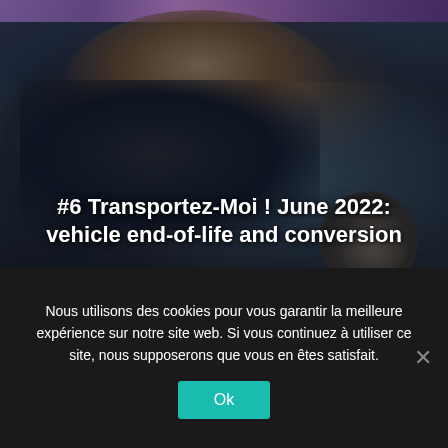[Figure (photo): A person leaning over a vehicle engine bay, appearing to work on or inspect the engine. The photo is dark-toned with blue-grey hues. Visible are mechanical components including what appears to be a large round engine part on the right side.]
#6 Transportez-Moi ! June 2022: vehicle end-of-life and conversion
Nous utilisons des cookies pour vous garantir la meilleure expérience sur notre site web. Si vous continuez à utiliser ce site, nous supposerons que vous en êtes satisfait.
Ok